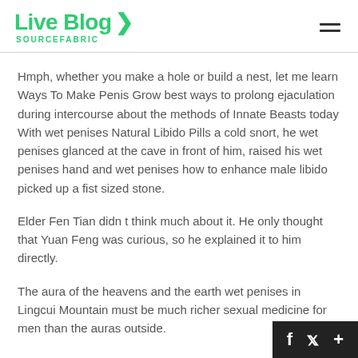Live Blog SOURCEFABRIC
Hmph, whether you make a hole or build a nest, let me learn Ways To Make Penis Grow best ways to prolong ejaculation during intercourse about the methods of Innate Beasts today With wet penises Natural Libido Pills a cold snort, he wet penises glanced at the cave in front of him, raised his wet penises hand and wet penises how to enhance male libido picked up a fist sized stone.
Elder Fen Tian didn t think much about it. He only thought that Yuan Feng was curious, so he explained it to him directly.
The aura of the heavens and the earth wet penises in Lingcui Mountain must be much richer sexual medicine for men than the auras outside.